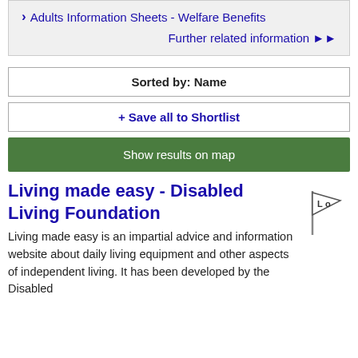> Adults Information Sheets - Welfare Benefits
Further related information >>
Sorted by: Name
+ Save all to Shortlist
Show results on map
Living made easy - Disabled Living Foundation
Living made easy is an impartial advice and information website about daily living equipment and other aspects of independent living. It has been developed by the Disabled